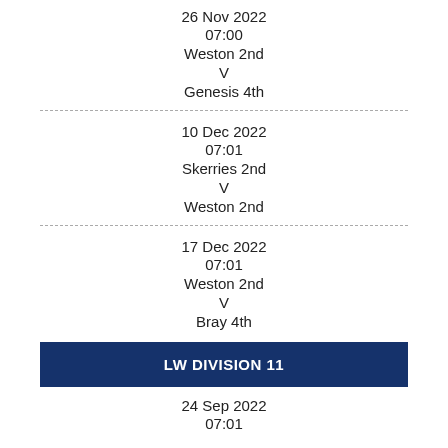26 Nov 2022
07:00
Weston 2nd
V
Genesis 4th
10 Dec 2022
07:01
Skerries 2nd
V
Weston 2nd
17 Dec 2022
07:01
Weston 2nd
V
Bray 4th
LW DIVISION 11
24 Sep 2022
07:01